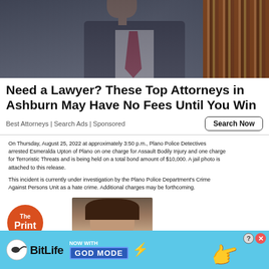[Figure (photo): Photo of a lawyer in a dark suit with a red tie, standing in front of a bookshelf]
Need a Lawyer? These Top Attorneys in Ashburn May Have No Fees Until You Win
Best Attorneys | Search Ads | Sponsored
On Thursday, August 25, 2022 at approximately 3:50 p.m., Plano Police Detectives arrested Esmeralda Upton of Plano on one charge for Assault Bodily Injury and one charge for Terroristic Threats and is being held on a total bond amount of $10,000. A jail photo is attached to this release.
This incident is currently under investigation by the Plano Police Department's Crime Against Persons Unit as a hate crime. Additional charges may be forthcoming.
[Figure (photo): Mugshot/jail photo of Esmeralda Upton with advertisement overlay text]
[Figure (logo): The Print orange circular logo with speech bubble tail]
[Figure (infographic): BitLife advertisement banner - NOW WITH GOD MODE in blue background]